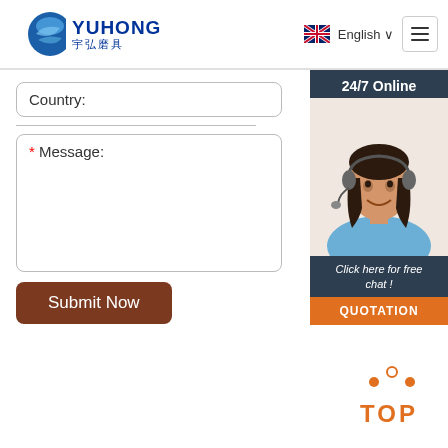[Figure (logo): Yuhong logo with blue wave sphere and text YUHONG / 宇弘磨具]
English
Country:
* Message:
24/7 Online
[Figure (photo): Customer service woman with headset smiling]
Click here for free chat !
QUOTATION
Submit Now
[Figure (other): TOP back-to-top button with orange dots and text]